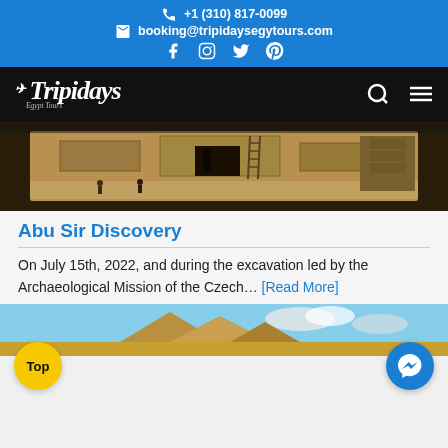+1 (310) 817-0099 | booking@tripidaysegytours.com | Facebook Instagram Twitter Pinterest
[Figure (logo): Tripidays Egypt Tours logo in white italic script on black navigation bar with search and menu icons]
[Figure (photo): Aerial view of ancient Egyptian excavation site at Abu Sir showing stone ruins, sandy ground, and archaeological dig]
Abu Sir Discovery
On July 15th, 2022, and during the excavation led by the Archaeological Mission of the Czech... [Read More]
[Figure (photo): Partial view of Egyptian pyramids against blue sky at bottom of page]